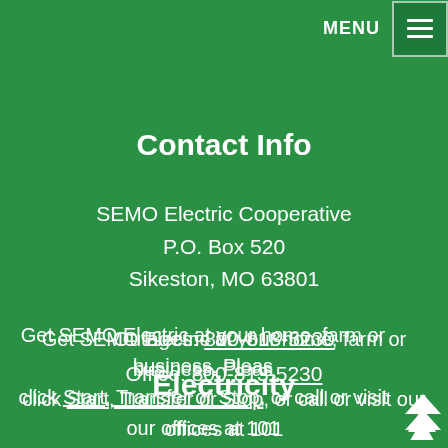MENU
Contact Info
SEMO Electric Cooperative
P.O. Box 520
Sikeston, MO 63801
Outages: 800-813-5230
Office: 800-813-5230
Electricity
Get SEMO Electric at your home, farm or business. Please click Start, Transfer or Stop, or call or visit our offices at 101